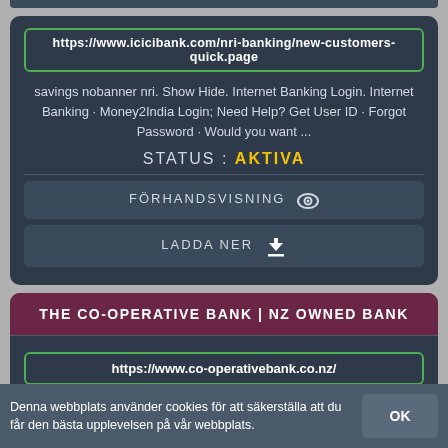https://www.icicibank.com/nri-banking/new-customers-quick.page
savings nobanner nri. Show Hide. Internet Banking Login. Internet Banking · Money2India Login; Need Help? Get User ID · Forgot Password · Would you want ...
STATUS: AKTIVA
FÖRHANDSVISNING 👁
LADDA NER ⬇
THE CO-OPERATIVE BANK | NZ OWNED BANK
https://www.co-operativebank.co.nz/
Helping look after Kiwis, in our own backyard. At the Co-operative Bank we
Denna webbplats använder cookies för att säkerställa att du får den bästa upplevelsen på vår webbplats.